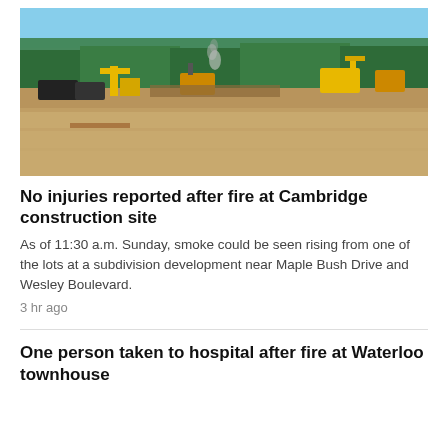[Figure (photo): Aerial/wide-angle photo of a large bare construction site with heavy machinery including excavators and cranes visible, light smoke rising, surrounded by green trees in the background under a clear blue sky.]
No injuries reported after fire at Cambridge construction site
As of 11:30 a.m. Sunday, smoke could be seen rising from one of the lots at a subdivision development near Maple Bush Drive and Wesley Boulevard.
3 hr ago
One person taken to hospital after fire at Waterloo townhouse